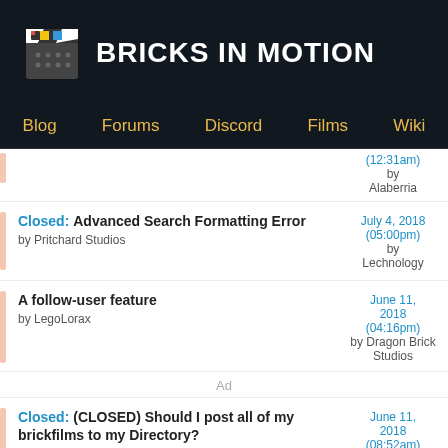BRICKS IN MOTION
Blog  Forums  Discord  Films  Wiki
(12:31am) by Alaberria
Closed: Advanced Search Formatting Error by Pritchard Studios — July 4, 2018 (05:00pm) by Lechnology
A follow-user feature by LegoLorax — June 11, 2018 (04:16pm) by Dragon Brick Studios
Ad
Closed: (CLOSED) Should I post all of my brickfilms to my Directory? by LegoLorax — June 11, 2018 (08:52am) by